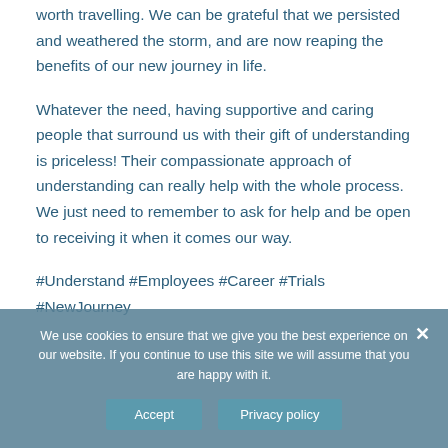worth travelling. We can be grateful that we persisted and weathered the storm, and are now reaping the benefits of our new journey in life.
Whatever the need, having supportive and caring people that surround us with their gift of understanding is priceless! Their compassionate approach of understanding can really help with the whole process. We just need to remember to ask for help and be open to receiving it when it comes our way.
#Understand #Employees #Career #Trials #NewJourney
We use cookies to ensure that we give you the best experience on our website. If you continue to use this site we will assume that you are happy with it.